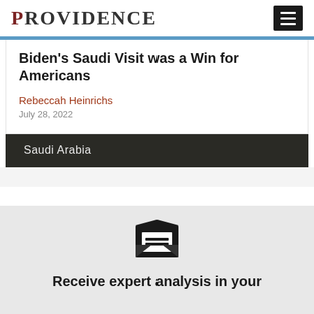PROVIDENCE
Biden's Saudi Visit was a Win for Americans
Rebeccah Heinrichs
July 28, 2022
Saudi Arabia
[Figure (illustration): Open envelope with letter/email icon]
Receive expert analysis in your